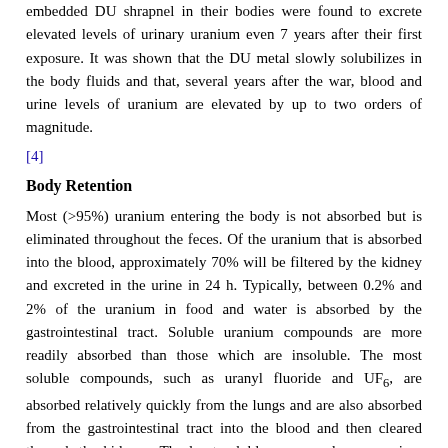embedded DU shrapnel in their bodies were found to excrete elevated levels of urinary uranium even 7 years after their first exposure. It was shown that the DU metal slowly solubilizes in the body fluids and that, several years after the war, blood and urine levels of uranium are elevated by up to two orders of magnitude.
[4]
Body Retention
Most (>95%) uranium entering the body is not absorbed but is eliminated throughout the feces. Of the uranium that is absorbed into the blood, approximately 70% will be filtered by the kidney and excreted in the urine in 24 h. Typically, between 0.2% and 2% of the uranium in food and water is absorbed by the gastrointestinal tract. Soluble uranium compounds are more readily absorbed than those which are insoluble. The most soluble compounds, such as uranyl fluoride and UF6, are absorbed relatively quickly from the lungs and are also absorbed from the gastrointestinal tract into the blood and then cleared through the kidneys. The least soluble compounds are uranium dioxide, uranium peroxide, and U3O8 which may take years before they become solubilized and absorbed into the blood. It has been found that the more soluble compounds are most toxic to the kidneys because they quickly reach higher blood and kidney